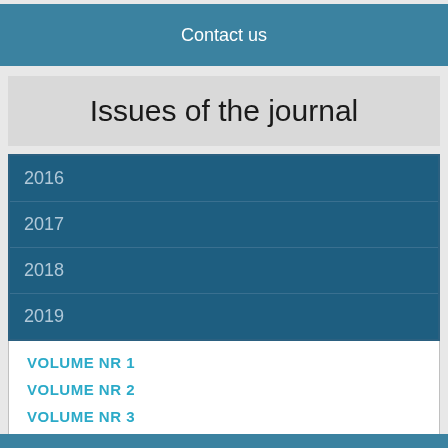Contact us
Issues of the journal
2016
2017
2018
2019
VOLUME NR 1
VOLUME NR 2
VOLUME NR 3
VOLUME NR 4
VOLUME NR5
VOLUME NR 6